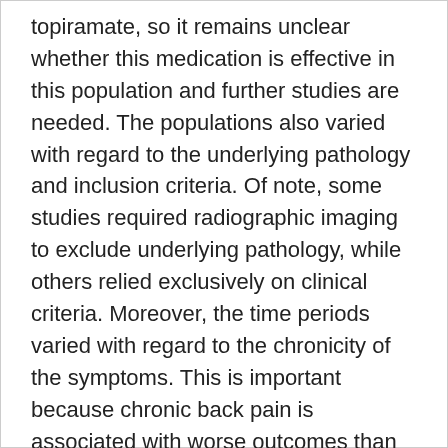topiramate, so it remains unclear whether this medication is effective in this population and further studies are needed. The populations also varied with regard to the underlying pathology and inclusion criteria. Of note, some studies required radiographic imaging to exclude underlying pathology, while others relied exclusively on clinical criteria. Moreover, the time periods varied with regard to the chronicity of the symptoms. This is important because chronic back pain is associated with worse outcomes than acute back pain.7 While most studies evaluated chronic back pain, Maher et al included predominately acute (i.e., less than 3 months duration) back pain patients and also found no difference in pain or disability in their study.8 Finally, there were differences in the pain assessment endpoints in the study groups. As a result, many of the assessments included relatively smaller groups.
Based on the above data, this analysis suggests that gabapentinoids are associated with an increased risk of adverse events without an improvement in pain or